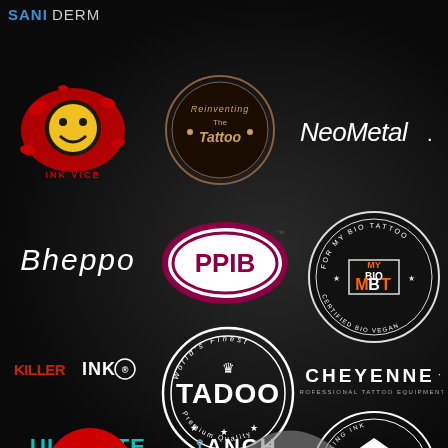[Figure (logo): SANIDERM logo - blue and white text on dark background]
[Figure (logo): Ink Vice smiley face splatter logo]
[Figure (logo): Reinventing The Tattoo ornate circular logo]
[Figure (logo): NeoMetal logo in white italic text]
[Figure (logo): Bheppo script logo in white]
[Figure (logo): PPIB oval maroon and white logo]
[Figure (logo): ForMyBioTattoo MBT circular badge logo - Certified Bio Vegan]
[Figure (logo): Killer Ink logo in red and white]
[Figure (logo): Tadoo Worlds Finest circular stamp logo in white]
[Figure (logo): Cheyenne Professional Tattoo Equipment logo in white]
[Figure (logo): Ultimate Tattoo Supply logo in teal/cyan]
[Figure (logo): ANCH Cartridge System Quality Tattoo Tool logo with anchor]
[Figure (logo): Dynamic Color Co circular eagle logo in white]
[Figure (logo): Partial red circular logo at bottom left]
[Figure (logo): Partial logo at bottom center]